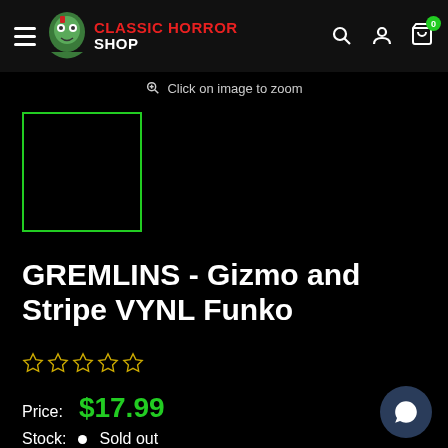Classic Horror Shop — navigation header with logo, search, account, cart (0)
Click on image to zoom
[Figure (photo): Product thumbnail placeholder — black square with green border]
GREMLINS - Gizmo and Stripe VYNL Funko
☆☆☆☆☆ (0 stars rating)
Price: $17.99
Stock: • Sold out